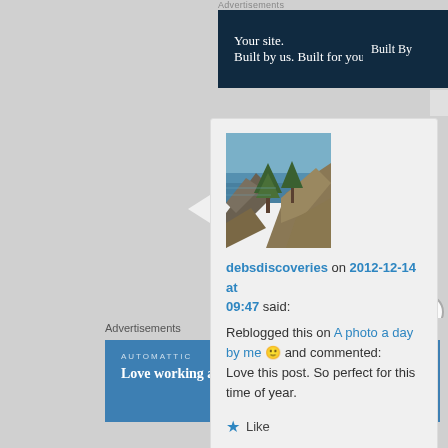Advertisements
[Figure (screenshot): Dark navy advertisement banner: 'Your site. Built by us. Built for you.' with 'Built By' text on right]
[Figure (photo): Landscape photo showing rocky coastline with water and trees]
debsdiscoveries on 2012-12-14 at 09:47 said:
Reblogged this on A photo a day by me 🙂 and commented:
Love this post. So perfect for this time of year.
Like
Advertisements
[Figure (screenshot): Blue Automattic advertisement: 'Love working again.']